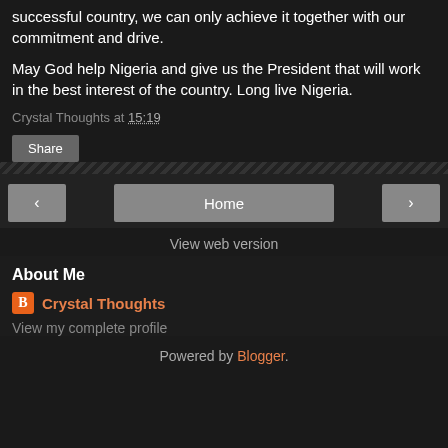successful country, we can only achieve it together with our commitment and drive.
May God help Nigeria and give us the President that will work in the best interest of the country. Long live Nigeria.
Crystal Thoughts at 15:19
Share
Home
View web version
About Me
Crystal Thoughts
View my complete profile
Powered by Blogger.